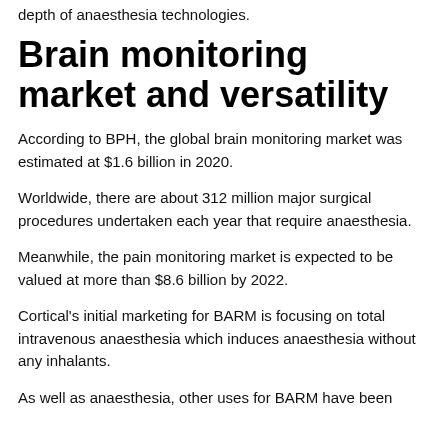depth of anaesthesia technologies.
Brain monitoring market and versatility
According to BPH, the global brain monitoring market was estimated at $1.6 billion in 2020.
Worldwide, there are about 312 million major surgical procedures undertaken each year that require anaesthesia.
Meanwhile, the pain monitoring market is expected to be valued at more than $8.6 billion by 2022.
Cortical's initial marketing for BARM is focusing on total intravenous anaesthesia which induces anaesthesia without any inhalants.
As well as anaesthesia, other uses for BARM have been